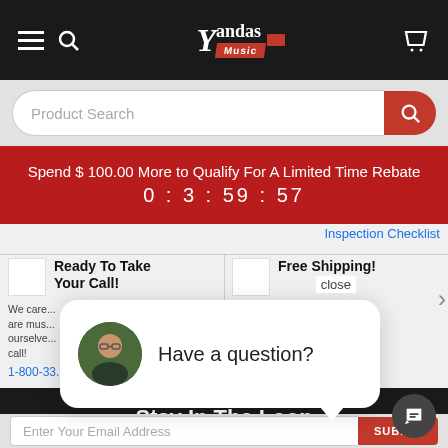[Figure (screenshot): Yandas Music website header with hamburger menu, search icon, logo, and cart icon on dark background]
[Figure (screenshot): Product search bar with rounded input field and red search button]
Spend $ 100.00 More to Qualify For A Limited Time Rebate
0 : 3 : 59 : 57
Inspection Checklist
Ready To Take Your Call!
We care... are mus... ourselves... call!
1-800-33...
Free Shipping!
Most items o...
[Figure (screenshot): Chat popup with avatar photo and 'Have a question?' text, with close button]
Stay In The Loop
Enter Your Email Address
SUBMIT